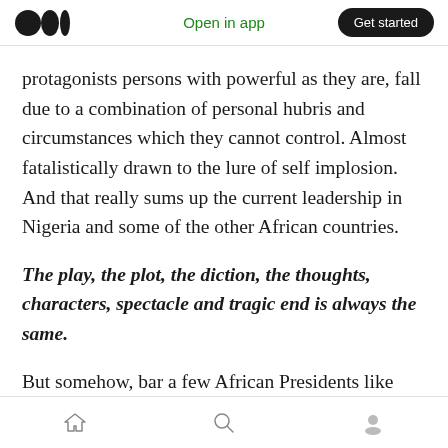Open in app | Get started
protagonists persons with powerful as they are, fall due to a combination of personal hubris and circumstances which they cannot control. Almost fatalistically drawn to the lure of self implosion. And that really sums up the current leadership in Nigeria and some of the other African countries.
The play, the plot, the diction, the thoughts, characters, spectacle and tragic end is always the same.
But somehow, bar a few African Presidents like
Home | Search | Profile